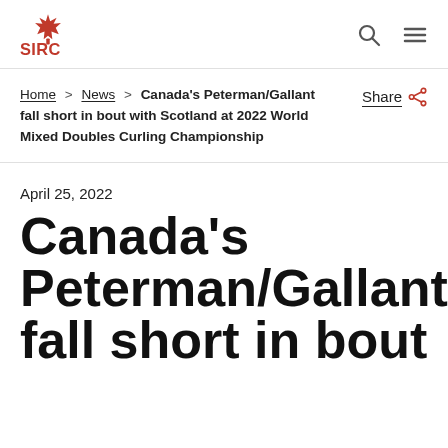SIRC
Home > News > Canada's Peterman/Gallant fall short in bout with Scotland at 2022 World Mixed Doubles Curling Championship
Share
April 25, 2022
Canada's Peterman/Gallant fall short in bout